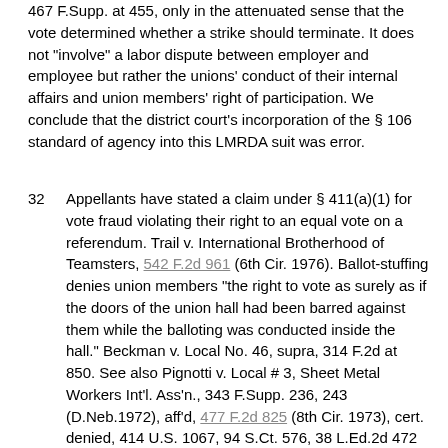467 F.Supp. at 455, only in the attenuated sense that the vote determined whether a strike should terminate. It does not "involve" a labor dispute between employer and employee but rather the unions' conduct of their internal affairs and union members' right of participation. We conclude that the district court's incorporation of the § 106 standard of agency into this LMRDA suit was error.
32 Appellants have stated a claim under § 411(a)(1) for vote fraud violating their right to an equal vote on a referendum. Trail v. International Brotherhood of Teamsters, 542 F.2d 961 (6th Cir. 1976). Ballot-stuffing denies union members "the right to vote as surely as if the doors of the union hall had been barred against them while the balloting was conducted inside the hall." Beckman v. Local No. 46, supra, 314 F.2d at 850. See also Pignotti v. Local # 3, Sheet Metal Workers Int'l. Ass'n., 343 F.Supp. 236, 243 (D.Neb.1972), aff'd, 477 F.2d 825 (8th Cir. 1973), cert. denied, 414 U.S. 1067, 94 S.Ct. 576, 38 L.Ed.2d 472 (1973). The allegations of discrimination in vote counting and dilution of the right of equal participation have then satisfied the standard for a § 411 cause of action under Calhoon v. Harvey, 379 U.S. 134, 85 S.Ct. 292, 13 L.Ed.2d 190 (1964).9